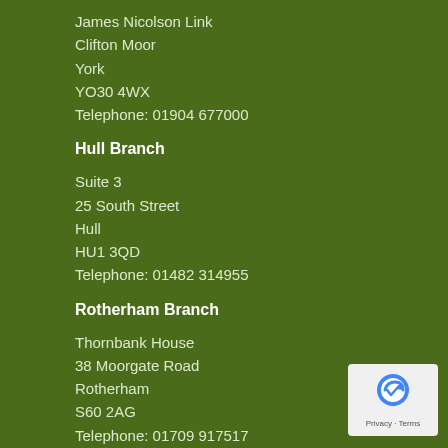James Nicolson Link
Clifton Moor
York
YO30 4WX
Telephone: 01904 677000
Hull Branch
Suite 3
25 South Street
Hull
HU1 3QD
Telephone: 01482 314955
Rotherham Branch
Thornbank House
38 Moorgate Road
Rotherham
S60 2AG
Telephone: 01709 917517
[Figure (logo): reCAPTCHA badge with Privacy and Terms links]